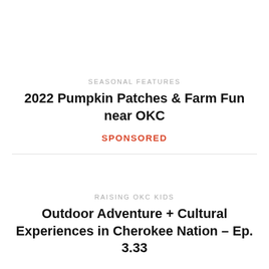SEASONAL FEATURES
2022 Pumpkin Patches & Farm Fun near OKC
SPONSORED
RAISING OKC KIDS
Outdoor Adventure + Cultural Experiences in Cherokee Nation – Ep. 3.33